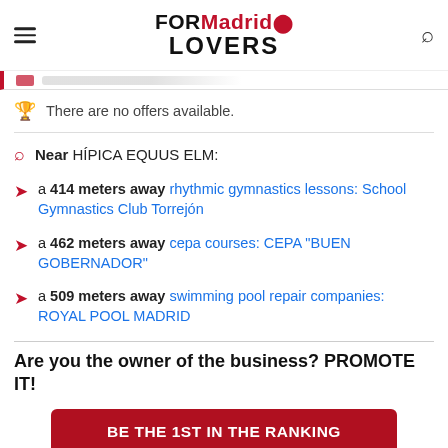FORMadrid LOVERS
There are no offers available.
Near HÍPICA EQUUS ELM:
a 414 meters away rhythmic gymnastics lessons: School Gymnastics Club Torrejón
a 462 meters away cepa courses: CEPA "BUEN GOBERNADOR"
a 509 meters away swimming pool repair companies: ROYAL POOL MADRID
Are you the owner of the business? PROMOTE IT!
BE THE 1ST IN THE RANKING